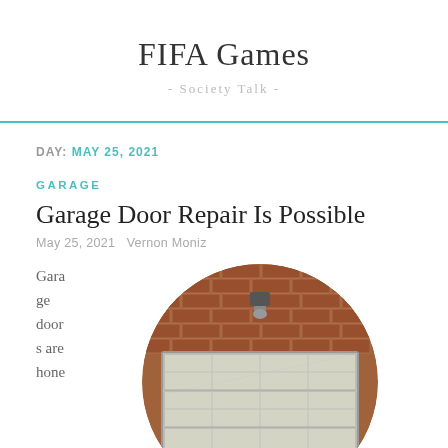FIFA Games
- Society Talk -
DAY: MAY 25, 2021
GARAGE
Garage Door Repair Is Possible
May 25, 2021   Vernon Moniz
Garage doors are hone
[Figure (photo): Circular cropped photo of a brick house exterior with a white garage door and a light fixture above it, surrounded by greenery at the base.]